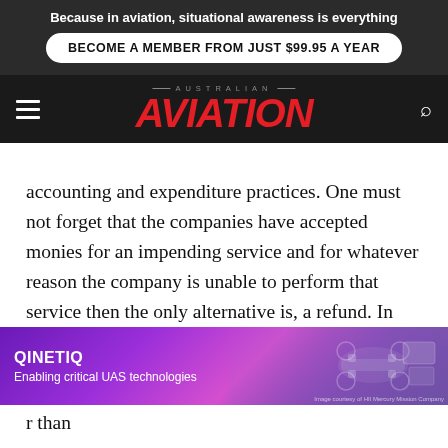Because in aviation, situational awareness is everything
BECOME A MEMBER FROM JUST $99.95 A YEAR
[Figure (logo): Australian Aviation magazine logo with red italic AVIATION text and hamburger menu and search icons on dark background]
accounting and expenditure practices. One must not forget that the companies have accepted monies for an impending service and for whatever reason the company is unable to perform that service then the only alternative is, a refund. In most cases monies are paid to companies many many months in advance of travel, and if the company is unable to perform that service then the only alternative is, a refund. In most cases monies are paid to companies many many months in
[Figure (infographic): QinetiQ advertisement banner: Enabling critical UAS technologies, purple gradient background with drone/UAS imagery]